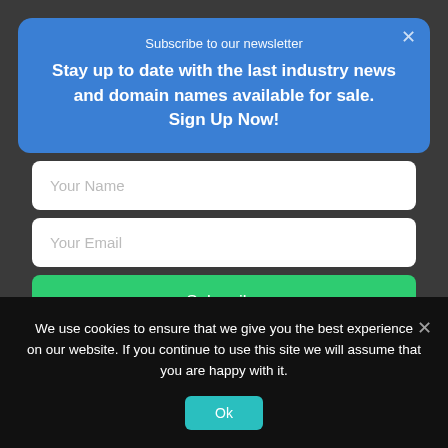Subscribe to our newsletter
Stay up to date with the last industry news and domain names available for sale.
Sign Up Now!
Your Name
Your Email
Subscribe
⚡ by Convertful
We use cookies to ensure that we give you the best experience on our website. If you continue to use this site we will assume that you are happy with it.
Ok